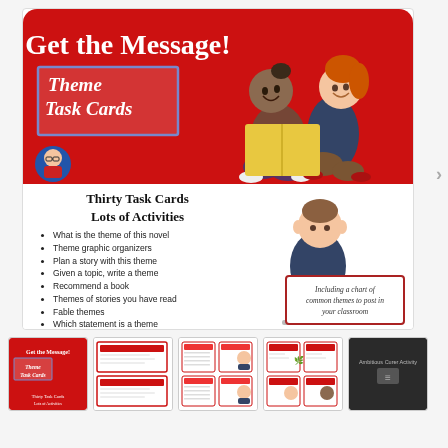[Figure (illustration): Product cover image with red rounded-rectangle background. Large white text 'Get the Message!' at top. Below left, a bordered box with italic text 'Theme Task Cards'. Two cartoon children (one dark-skinned with hair bun, one light-skinned with red hair) sit reading a yellow book together on the right side. Small circular avatar logo bottom-left.]
Thirty Task Cards
Lots of Activities
What is the theme of this novel
Theme graphic organizers
Plan a story with this theme
Given a topic, write a theme
Recommend a book
Themes of stories you have read
Fable themes
Which statement is a theme
[Figure (illustration): Cartoon boy sitting with laptop computer. Red-bordered box with italic text: 'Including a chart of common themes to post in your classroom']
[Figure (photo): Thumbnail 1: product cover thumbnail]
[Figure (photo): Thumbnail 2: task card sheets with red borders]
[Figure (photo): Thumbnail 3: task card sheets with writing lines]
[Figure (photo): Thumbnail 4: task cards with red header and small illustration]
[Figure (photo): Thumbnail 5: dark background card with small text and icon]